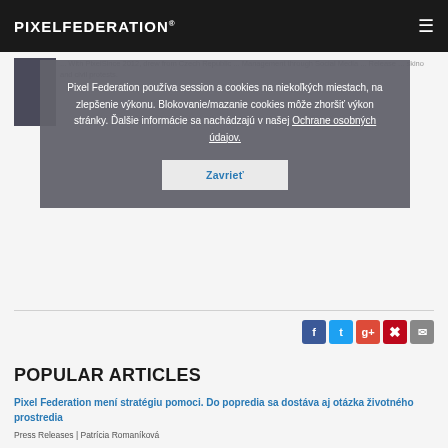PIXELFEDERATION®
Pixel Federation používa session a cookies na niekoľkých miestach, na zlepšenie výkonu. Blokovanie/mazanie cookies môže zhoršiť výkon stránky. Ďalšie informácie sa nachádzajú v našej Ochrane osobných údajov.
Zavrieť
... With PixelSince 2012, drew from Czech Republic ... Management through Social Media ... Release ... skino and civil protests.
POPULAR ARTICLES
Pixel Federation mení stratégiu pomoci. Do popredia sa dostáva aj otázka životného prostredia
Press Releases | Patrícia Romaníková